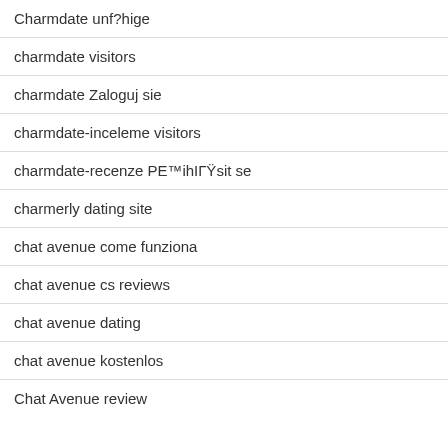Charmdate unf?hige
charmdate visitors
charmdate Zaloguj sie
charmdate-inceleme visitors
charmdate-recenze PЕ™ihlГЎsit se
charmerly dating site
chat avenue come funziona
chat avenue cs reviews
chat avenue dating
chat avenue kostenlos
Chat Avenue review